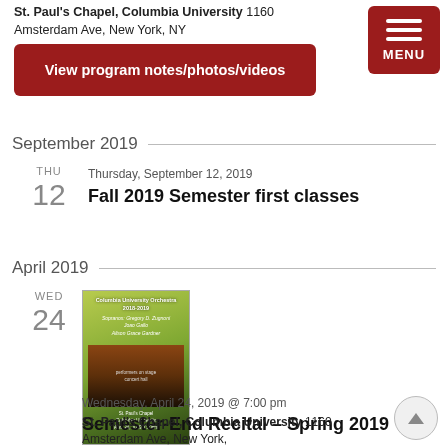St. Paul's Chapel, Columbia University 1160 Amsterdam Ave, New York, NY
[Figure (screenshot): Red menu button with three horizontal white bars and MENU label]
View program notes/photos/videos
September 2019
Thursday, September 12, 2019
Fall 2019 Semester first classes
April 2019
[Figure (photo): Program booklet cover for Semester-End Recital Spring 2019, green cover with performers and text]
Wednesday, April 24, 2019 @ 7:00 pm
Semester-End Recital – Spring 2019
St. Paul's Chapel, Columbia University 1160 Amsterdam Ave, New York, NY